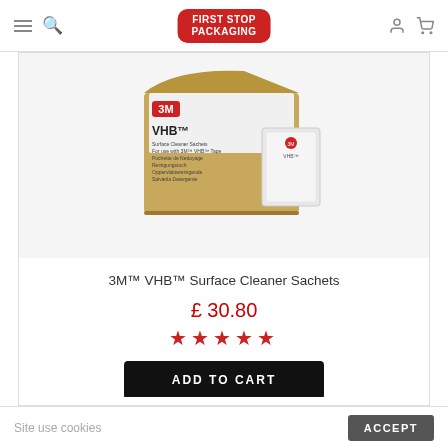First Stop Packaging
[Figure (photo): 3M VHB Surface Cleaner Sachets product photo showing a cardboard box opened with sachets inside and one sachet in front]
3M™ VHB™ Surface Cleaner Sachets
£ 30.80
[Figure (other): Five red star rating]
ADD TO CART
Site use cookies
ACCEPT